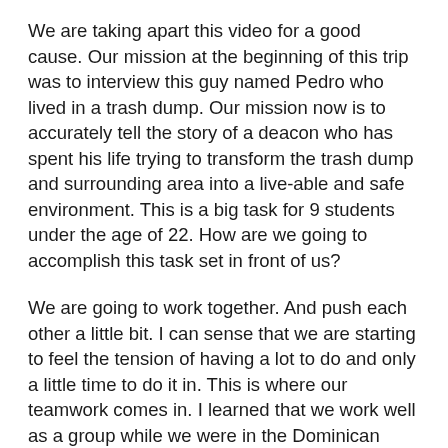We are taking apart this video for a good cause. Our mission at the beginning of this trip was to interview this guy named Pedro who lived in a trash dump. Our mission now is to accurately tell the story of a deacon who has spent his life trying to transform the trash dump and surrounding area into a live-able and safe environment. This is a big task for 9 students under the age of 22. How are we going to accomplish this task set in front of us?
We are going to work together. And push each other a little bit. I can sense that we are starting to feel the tension of having a lot to do and only a little time to do it in. This is where our teamwork comes in. I learned that we work well as a group while we were in the Dominican Republic. We can do this.
To those who are waiting on this video, it should be a moving story. Cannot tell you the length or the exact content at this point, but I can tell you that it is going to...